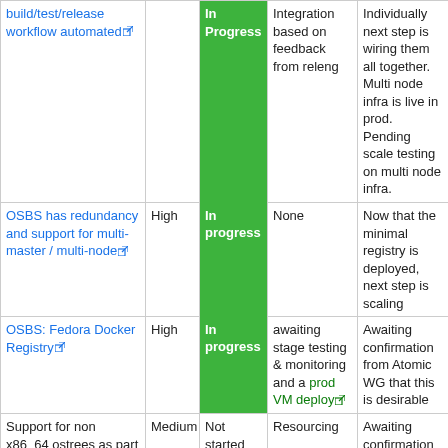| Task | Priority | Status | Blocking | Notes |
| --- | --- | --- | --- | --- |
| build/test/release workflow automated [link] |  | In Progress | Integration based on feedback from releng | Individually next step is wiring them all together. Multi node infra is live in prod. Pending scale testing on multi node infra. |
| OSBS has redundancy and support for multi-master / multi-node [link] | High | In progress | None | Now that the minimal registry is deployed, next step is scaling |
| OSBS: Fedora Docker Registry [link] | High | In progress | awaiting stage testing & monitoring and a prod VM deploy [link] | Awaiting confirmation from Atomic WG that this is desirable |
| Support for non x86_64 ostrees as part of standard build & release process | Medium | Not started | Resourcing | Awaiting confirmation from Atomic WG that this is desirable |